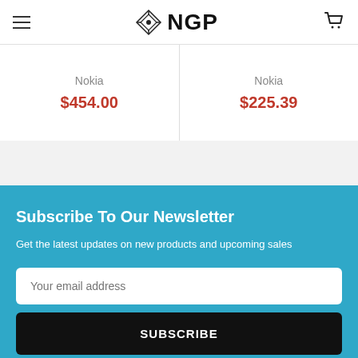NGP
Nokia
$454.00
Nokia
$225.39
Subscribe To Our Newsletter
Get the latest updates on new products and upcoming sales
Your email address
SUBSCRIBE